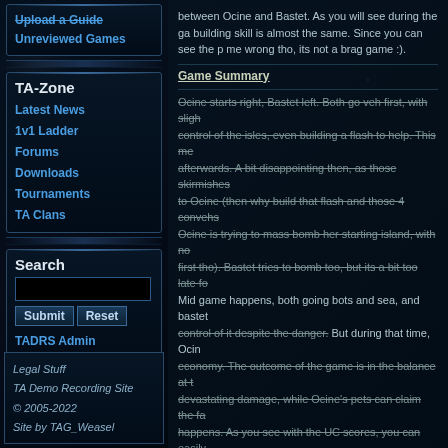Unreviewed Games
TA-Zone
Latest News
1v1 Ladder
Forums
Downloads
Tournaments
TA Clans
Search
TADRS Admin
Legal Stuff
TA Demo Recording Site
© 2005-2022
Site by TAG_Weasel
between Ocine and Bastet. As you will see during the ga building skill is almost the same. Since you can see the p me wrong tho, its not a brag game :).
Game Summary
Ocine starts right, Bastet left. Both go veh first, with sligh control of the isles, even building a flash to help. This me afterwards. A bit disappointing then, as those skirmishes to Ocine (then why build that flash and those 4 convehs Ocine is trying to mass bomb her starting island, with no first tho). Bastet tries to bomb too, but its a bit too late fo Mid game happens, both going bots and sea, and bastet control of it despite the danger. But during that time, Ocin economy. The outcome of the game is in the balance at t devastating damage, while Ocine's pets can claim the fa happens. As you see with the UC scores, you can easily
Final Words
GG to both players, good reactions and adaptation to en
Technical Facts
Battle intensity : Above Average
Skill Balance : Somewhat unbalanced
Predicability : End is obvious, but during the game the
Average Skill : High
Learning Value : High
Originality : Not really
Fun : Yes
Game Size : 2.28 Mb unzipped